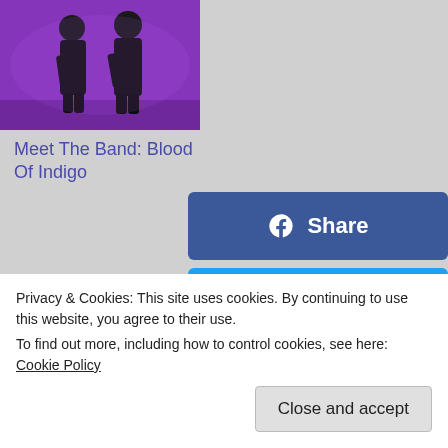[Figure (photo): Two figures in dark clothing on a purple-lit stage]
Meet The Band: Blood Of Indigo
[Figure (infographic): Facebook Share button (dark blue)]
[Figure (infographic): Twitter Tweet button (light blue)]
[Figure (infographic): Pinterest Pin button (red)]
Privacy & Cookies: This site uses cookies. By continuing to use this website, you agree to their use.
To find out more, including how to control cookies, see here: Cookie Policy
Close and accept